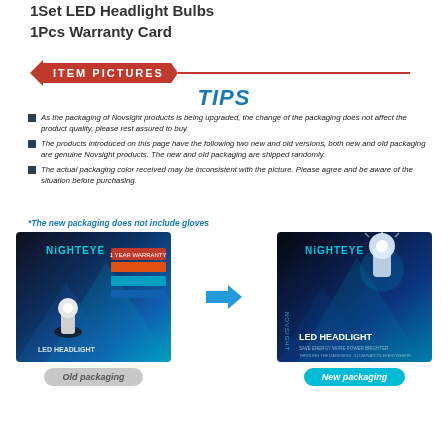1Set LED Headlight Bulbs
1Pcs Warranty Card
ITEM PICTURES
TIPS
As the packaging of Novsight products is being upgraded, the change of the packaging does not affect the product quality, please rest assured to buy.
The products introduced on this page have the following two new and old versions, both new and old packaging are genuine Novsight products. The new and old packaging are shipped randomly.
The actual packaging color received may be inconsistent with the picture. Please agree and be aware of the situation before purchasing.
*The new packaging does not include gloves
[Figure (photo): Old packaging of NightEye LED Headlight bulbs product box (dark box with teal/blue design) and new packaging (sleeker dark box with LED Headlight label), with blue arrow indicating upgrade direction. Labels 'Old packaging' and 'New packaging' below each box.]